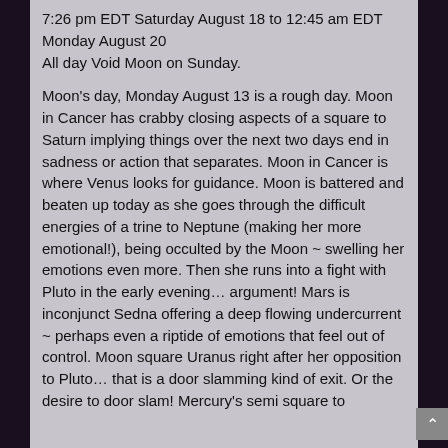7:26 pm EDT Saturday August 18 to 12:45 am EDT Monday August 20
All day Void Moon on Sunday.

Moon's day, Monday August 13 is a rough day. Moon in Cancer has crabby closing aspects of a square to Saturn implying things over the next two days end in sadness or action that separates. Moon in Cancer is where Venus looks for guidance. Moon is battered and beaten up today as she goes through the difficult energies of a trine to Neptune (making her more emotional!), being occulted by the Moon ~ swelling her emotions even more. Then she runs into a fight with Pluto in the early evening… argument! Mars is inconjunct Sedna offering a deep flowing undercurrent ~ perhaps even a riptide of emotions that feel out of control. Moon square Uranus right after her opposition to Pluto… that is a door slamming kind of exit. Or the desire to door slam! Mercury's semi square to